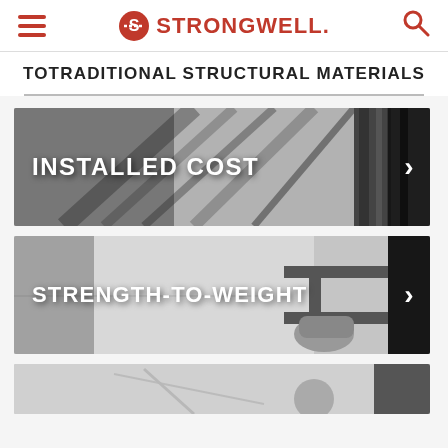Strongwell navigation header with hamburger menu and search icon
TOTRADITIONAL STRUCTURAL MATERIALS
[Figure (photo): Black and white photo of structural steel scaffolding/construction with text overlay INSTALLED COST and arrow chevron]
[Figure (photo): Black and white photo of someone holding a steel I-beam or structural element with text overlay STRENGTH-TO-WEIGHT and arrow chevron]
[Figure (photo): Partial black and white photo at bottom of page, content partially visible]